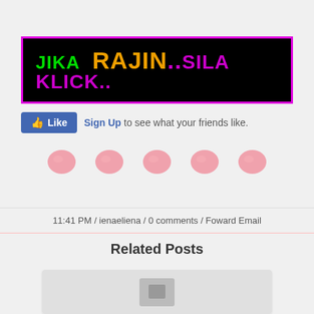[Figure (screenshot): Black banner with magenta border containing colorful bold text: JIKA (green) RAJIN.. (orange) SILA KLICK.. (purple)]
[Figure (screenshot): Facebook Like button (blue) with text: Sign Up to see what your friends like.]
[Figure (illustration): Five pink lip/kiss mark dots in a horizontal row]
11:41 PM / ienaeliena / 0 comments / Foward Email
Related Posts
[Figure (screenshot): Partial gray card/image placeholder at bottom of page]